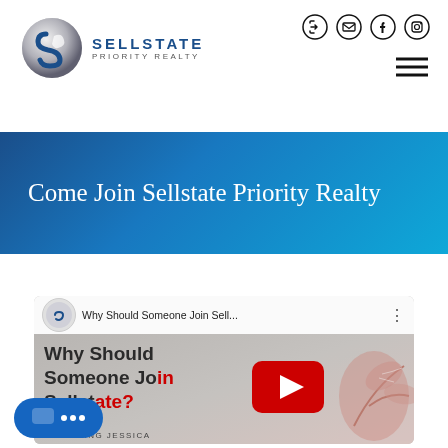[Figure (logo): Sellstate Priority Realty logo with stylized S globe icon and company name]
[Figure (screenshot): Navigation icons row: login, email, Facebook, Instagram]
[Figure (screenshot): Hamburger menu icon (three horizontal lines)]
Come Join Sellstate Priority Realty
[Figure (screenshot): YouTube video embed thumbnail showing 'Why Should Someone Join Sell...' with title overlay 'Why Should Someone Join Sellstate?' and play button, featuring Jessica]
[Figure (other): Blue chat bubble widget with three dots indicating live chat]